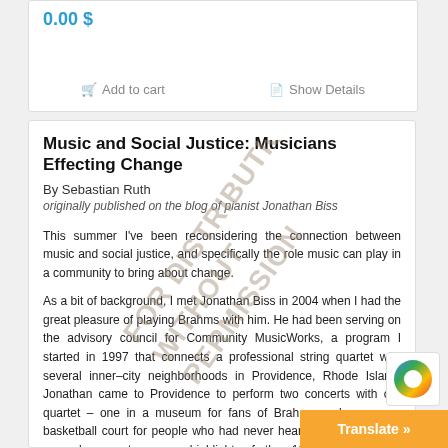0.00 $
Add to cart   Show Details
Music and Social Justice: Musicians Effecting Change
By Sebastian Ruth
originally published on the blog of pianist Jonathan Biss
This summer I've been reconsidering the connection between music and social justice, and specifically the role music can play in a community to bring about change.
As a bit of background, I met Jonathan Biss in 2004 when I had the great pleasure of playing Brahms with him. He had been serving on the advisory council for Community MusicWorks, a program I started in 1997 that connects a professional string quartet with several inner–city neighborhoods in Providence, Rhode Island. Jonathan came to Providence to perform two concerts with our quartet – one in a museum for fans of Brahms and one on a basketball court for people who had never heard of Brahms. That second concert was a highlight of the 10–year history of Community MusicWorks, and it is an example of the kind of experience I want to highlight with this column.
A message of excellence: the gym concert